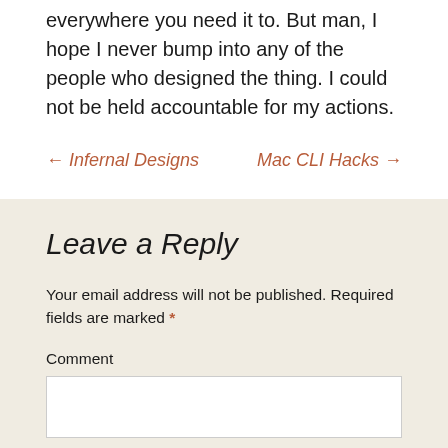everywhere you need it to. But man, I hope I never bump into any of the people who designed the thing. I could not be held accountable for my actions.
← Infernal Designs
Mac CLI Hacks →
Leave a Reply
Your email address will not be published. Required fields are marked *
Comment